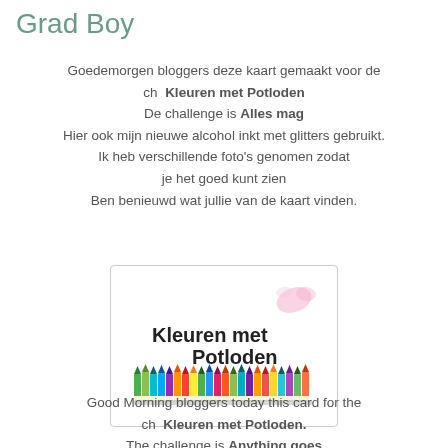Grad Boy
Goedemorgen bloggers deze kaart gemaakt voor de ch  Kleuren met Potloden
De challenge is Alles mag
Hier ook mijn nieuwe alcohol inkt met glitters gebruikt.
Ik heb verschillende foto's genomen zodat
je het goed kunt zien
Ben benieuwd wat jullie van de kaart vinden.
[Figure (logo): Kleuren met Potloden badge showing colorful pencils arranged in a row with decorative floral elements and text]
Good Morning bloggers today this card for the ch  Kleuren met Potloden.
The challenge is Anything goes